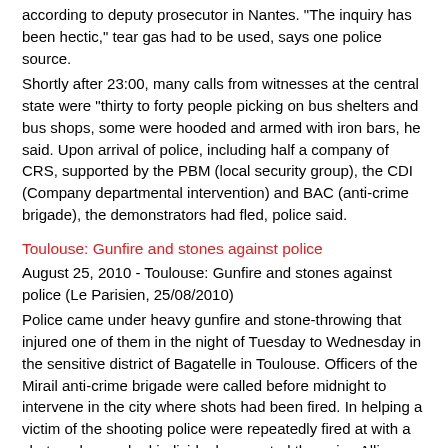according to deputy prosecutor in Nantes. "The inquiry has been hectic," tear gas had to be used, says one police source.
Shortly after 23:00, many calls from witnesses at the central state were "thirty to forty people picking on bus shelters and bus shops, some were hooded and armed with iron bars, he said. Upon arrival of police, including half a company of CRS, supported by the PBM (local security group), the CDI (Company departmental intervention) and BAC (anti-crime brigade), the demonstrators had fled, police said.
Toulouse: Gunfire and stones against police
August 25, 2010 - Toulouse: Gunfire and stones against police (Le Parisien, 25/08/2010)
Police came under heavy gunfire and stone-throwing that injured one of them in the night of Tuesday to Wednesday in the sensitive district of Bagatelle in Toulouse. Officers of the Mirail anti-crime brigade were called before midnight to intervene in the city where shots had been fired. In helping a victim of the shooting police were repeatedly fired at with a shotgun by masked individuals, reported the union Alliance. According to another professional organization, the SGR FO...